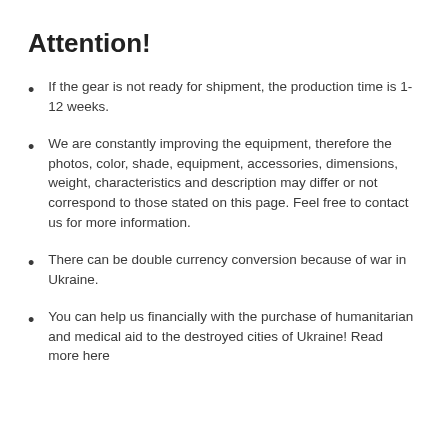Attention!
If the gear is not ready for shipment, the production time is 1-12 weeks.
We are constantly improving the equipment, therefore the photos, color, shade, equipment, accessories, dimensions, weight, characteristics and description may differ or not correspond to those stated on this page. Feel free to contact us for more information.
There can be double currency conversion because of war in Ukraine.
You can help us financially with the purchase of humanitarian and medical aid to the destroyed cities of Ukraine! Read more here